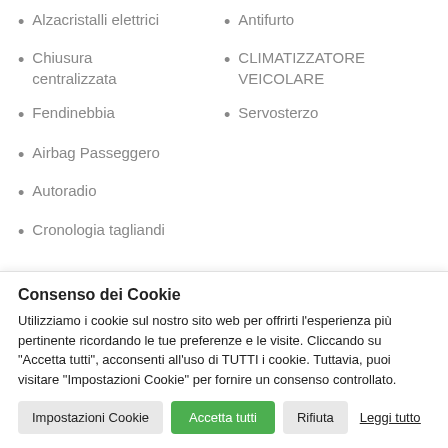Alzacristalli elettrici
Antifurto
Chiusura centralizzata
CLIMATIZZATORE VEICOLARE
Fendinebbia
Servosterzo
Airbag Passeggero
Autoradio
Cronologia tagliandi
Consenso dei Cookie
Utilizziamo i cookie sul nostro sito web per offrirti l'esperienza più pertinente ricordando le tue preferenze e le visite. Cliccando su "Accetta tutti", acconsenti all'uso di TUTTI i cookie. Tuttavia, puoi visitare "Impostazioni Cookie" per fornire un consenso controllato.